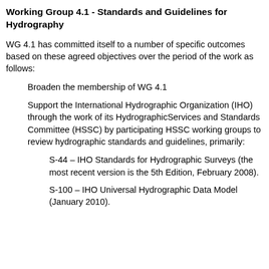Working Group 4.1 - Standards and Guidelines for Hydrography
WG 4.1 has committed itself to a number of specific outcomes based on these agreed objectives over the period of the work as follows:
Broaden the membership of WG 4.1
Support the International Hydrographic Organization (IHO) through the work of its HydrographicServices and Standards Committee (HSSC) by participating HSSC working groups to review hydrographic standards and guidelines, primarily:
S-44 – IHO Standards for Hydrographic Surveys (the most recent version is the 5th Edition, February 2008).
S-100 – IHO Universal Hydrographic Data Model (January 2010).